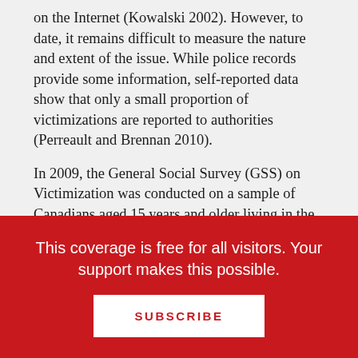on the Internet (Kowalski 2002). However, to date, it remains difficult to measure the nature and extent of the issue. While police records provide some information, self-reported data show that only a small proportion of victimizations are reported to authorities (Perreault and Brennan 2010).
In 2009, the General Social Survey (GSS) on Victimization was conducted on a sample of Canadians aged 15 years and older living in the provinces. For the first time, the GSS collected information from Canadians about their perceptions and experiences of victimization on the Internet, with a particular
This coverage is free for all visitors. Your support makes this possible.
SUBSCRIBE